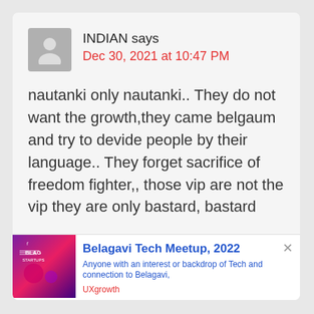INDIAN says
Dec 30, 2021 at 10:47 PM
nautanki only nautanki.. They do not want the growth,they came belgaum and try to devide people by their language.. They forget sacrifice of freedom fighter,, those vip are not the vip they are only bastard, bastard
[Figure (screenshot): Belagavi Tech Meetup 2022 advertisement banner with purple/pink gradient image on left, bold blue title, blue description text, and red UXgrowth source label]
Belagavi Tech Meetup, 2022
Anyone with an interest or backdrop of Tech and connection to Belagavi,
UXgrowth